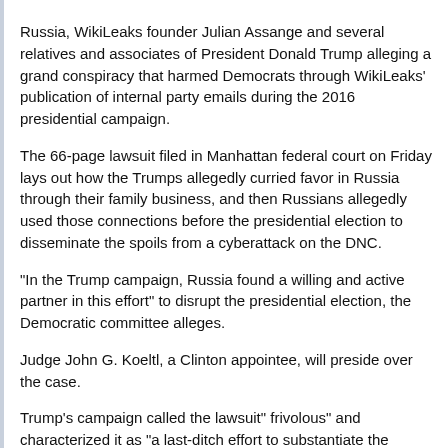Russia, WikiLeaks founder Julian Assange and several relatives and associates of President Donald Trump alleging a grand conspiracy that harmed Democrats through WikiLeaks' publication of internal party emails during the 2016 presidential campaign.
The 66-page lawsuit filed in Manhattan federal court on Friday lays out how the Trumps allegedly curried favor in Russia through their family business, and then Russians allegedly used those connections before the presidential election to disseminate the spoils from a cyberattack on the DNC.
"In the Trump campaign, Russia found a willing and active partner in this effort" to disrupt the presidential election, the Democratic committee alleges.
Judge John G. Koeltl, a Clinton appointee, will preside over the case.
Trump's campaign called the lawsuit" frivolous" and characterized it as "a last-ditch effort to substantiate the baseless Russian collusion allegations" by a party "still trying to counter the will of the people in the 2016 presidential election."
"This is a sham lawsuit about a bogus Russian collusion claim filed by a desperate, dysfunctional, and nearly insolvent Democratic Party," campaign manager Brad Parscale said. "With the Democrats' conspiracy theories against the President's campaign evaporating as quickly as the